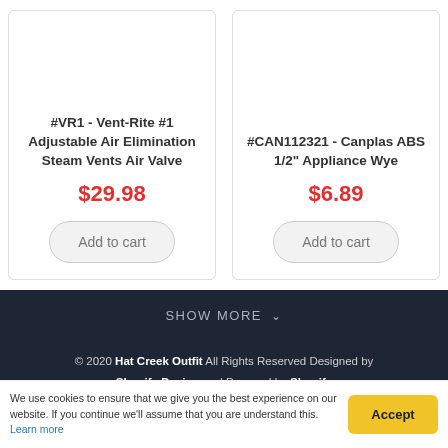#VR1 - Vent-Rite #1 Adjustable Air Elimination Steam Vents Air Valve
$29.98
Add to cart
#CAN112321 - Canplas ABS 1/2" Appliance Wye
$6.89
Add to cart
SHOW MORE ∨
© 2020 Hat Creek Outfit All Rights Reserved Designed by Shopify Designers | Powered by Shopify
We use cookies to ensure that we give you the best experience on our website. If you continue we'll assume that you are understand this. Learn more
Accept